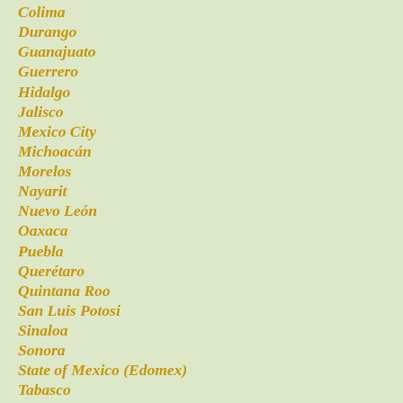Colima
Durango
Guanajuato
Guerrero
Hidalgo
Jalisco
Mexico City
Michoacán
Morelos
Nayarit
Nuevo León
Oaxaca
Puebla
Querétaro
Quintana Roo
San Luis Potosi
Sinaloa
Sonora
State of Mexico (Edomex)
Tabasco
Tamaulipas
Tlaxcala